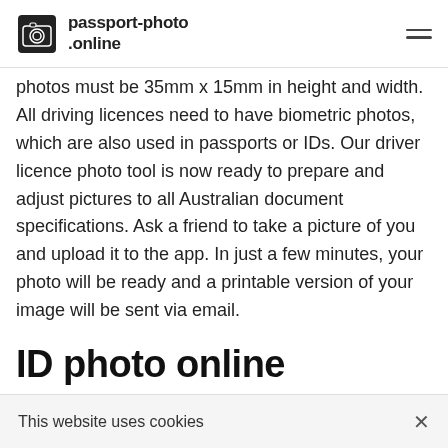passport-photo.online
photos must be 35mm x 15mm in height and width. All driving licences need to have biometric photos, which are also used in passports or IDs. Our driver licence photo tool is now ready to prepare and adjust pictures to all Australian document specifications. Ask a friend to take a picture of you and upload it to the app. In just a few minutes, your photo will be ready and a printable version of your image will be sent via email.
ID photo online
Sometimes you need a photo to apply for an ID card, student card or monthly travelcard for public transport. Although it's a brilliant idea to take your own photo, do bear in mind that there may be different specifications for
This website uses cookies